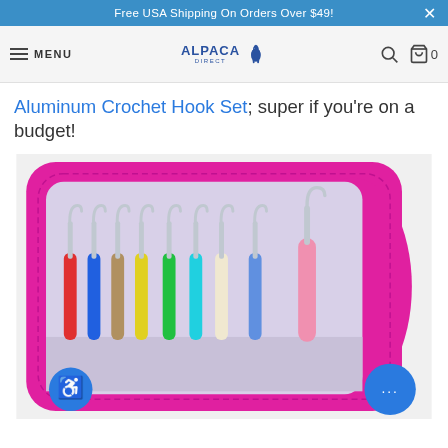Free USA Shipping On Orders Over $49!
MENU  ALPACA DIRECT
Aluminum Crochet Hook Set; super if you're on a budget!
[Figure (photo): A pink faux-leather zippered case opened to reveal 9 aluminum crochet hooks with colorful rubber/silicone handles (red, blue, tan, yellow, green, cyan, cream, blue, pink), displayed in a fabric holder insert inside the case.]